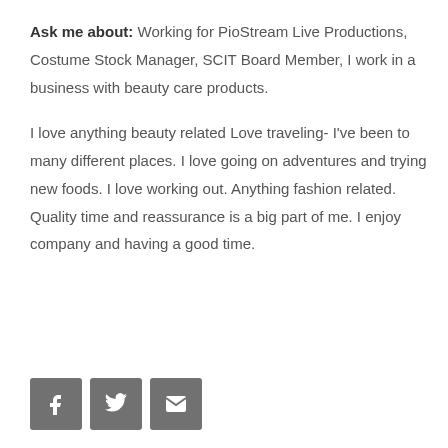Ask me about: Working for PioStream Live Productions, Costume Stock Manager, SCIT Board Member, I work in a business with beauty care products.
I love anything beauty related Love traveling- I've been to many different places. I love going on adventures and trying new foods. I love working out. Anything fashion related. Quality time and reassurance is a big part of me. I enjoy company and having a good time.
[Figure (other): Three social media icon buttons: Facebook (f), Twitter (bird), and Email (envelope), displayed as dark grey square buttons.]